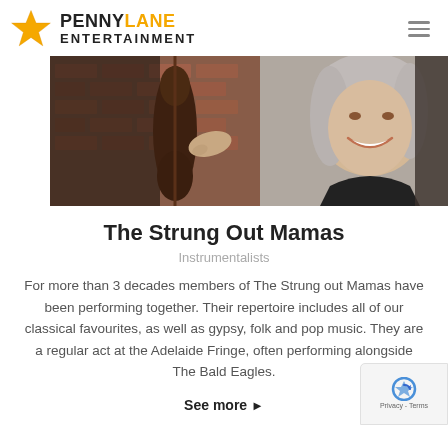PENNY LANE ENTERTAINMENT
[Figure (photo): Band photo showing a woman with grey hair smiling broadly, and another person playing a large upright bass/double bass against a brick wall background]
The Strung Out Mamas
Instrumentalists
For more than 3 decades members of The Strung out Mamas have been performing together. Their repertoire includes all of our classical favourites, as well as gypsy, folk and pop music. They are a regular act at the Adelaide Fringe, often performing alongside The Bald Eagles.
See more ▶